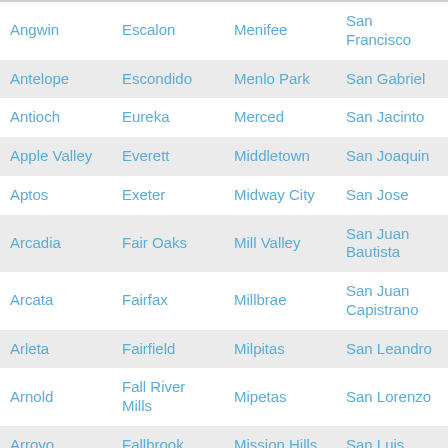| Angwin | Escalon | Menifee | San Francisco |
| Antelope | Escondido | Menlo Park | San Gabriel |
| Antioch | Eureka | Merced | San Jacinto |
| Apple Valley | Everett | Middletown | San Joaquin |
| Aptos | Exeter | Midway City | San Jose |
| Arcadia | Fair Oaks | Mill Valley | San Juan Bautista |
| Arcata | Fairfax | Millbrae | San Juan Capistrano |
| Arleta | Fairfield | Milpitas | San Leandro |
| Arnold | Fall River Mills | Mipetas | San Lorenzo |
| Arroyo | Fallbrook | Mission Hills | San Luis |